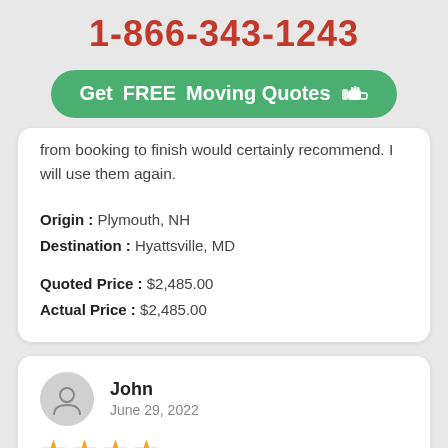1-866-343-1243
[Figure (other): Green CTA button with text 'Get FREE Moving Quotes' and pointing hand icon]
from booking to finish would certainly recommend. I will use them again.
Origin : Plymouth, NH
Destination : Hyattsville, MD
Quoted Price : $2,485.00
Actual Price : $2,485.00
John
June 29, 2022
[Figure (other): 4 orange/gold stars rating]